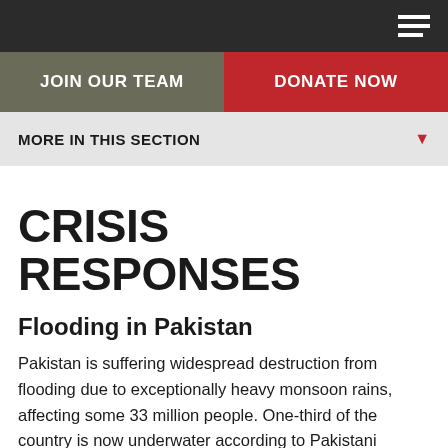JOIN OUR TEAM | DONATE NOW
MORE IN THIS SECTION
CRISIS RESPONSES
Flooding in Pakistan
Pakistan is suffering widespread destruction from flooding due to exceptionally heavy monsoon rains, affecting some 33 million people. One-third of the country is now underwater according to Pakistani officials. Médecins Sans Frontières/Doctors Without Borders (MSF) teams are on the ground providing primary healthcare, drinking water, and essential